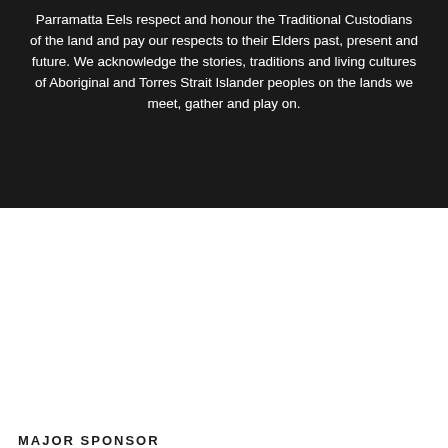Parramatta Eels respect and honour the Traditional Custodians of the land and pay our respects to their Elders past, present and future. We acknowledge the stories, traditions and living cultures of Aboriginal and Torres Strait Islander peoples on the lands we meet, gather and play on.
MAJOR SPONSOR
[Figure (logo): ALAND logo — stylized letter A in gold/yellow with triangle cutout, followed by LAND in bold black uppercase lettering]